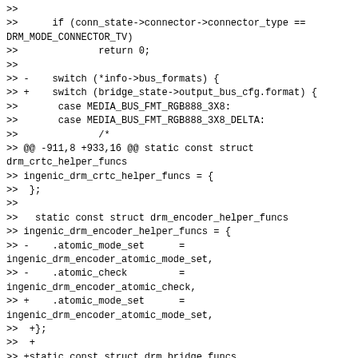>>
>>      if (conn_state->connector->connector_type ==
DRM_MODE_CONNECTOR_TV)
>>              return 0;
>>
>> -    switch (*info->bus_formats) {
>> +    switch (bridge_state->output_bus_cfg.format) {
>>       case MEDIA_BUS_FMT_RGB888_3X8:
>>       case MEDIA_BUS_FMT_RGB888_3X8_DELTA:
>>              /*
>> @@ -911,8 +933,16 @@ static const struct drm_crtc_helper_funcs
>> ingenic_drm_crtc_helper_funcs = {
>>  };
>>
>>   static const struct drm_encoder_helper_funcs
>> ingenic_drm_encoder_helper_funcs = {
>> -    .atomic_mode_set      =
ingenic_drm_encoder_atomic_mode_set,
>> -    .atomic_check         =
ingenic_drm_encoder_atomic_check,
>> +    .atomic_mode_set      =
ingenic_drm_encoder_atomic_mode_set,
>>  +};
>>  +
>> +static const struct drm_bridge_funcs
ingenic_drm_bridge_funcs = {
>>  +    .attach               =
ingenic_drm_bridge_attach,
>>  +    .atomic_check         =